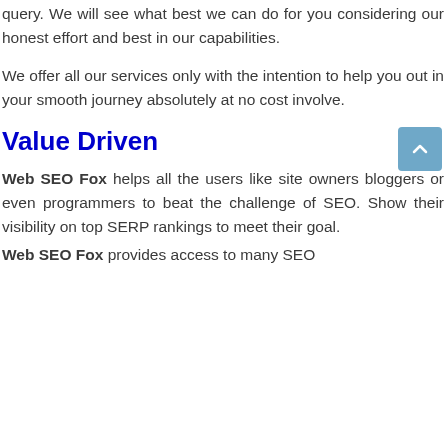query. We will see what best we can do for you considering our honest effort and best in our capabilities.
We offer all our services only with the intention to help you out in your smooth journey absolutely at no cost involve.
Value Driven
Web SEO Fox helps all the users like site owners bloggers or even programmers to beat the challenge of SEO. Show their visibility on top SERP rankings to meet their goal.
Web SEO Fox provides access to many SEO